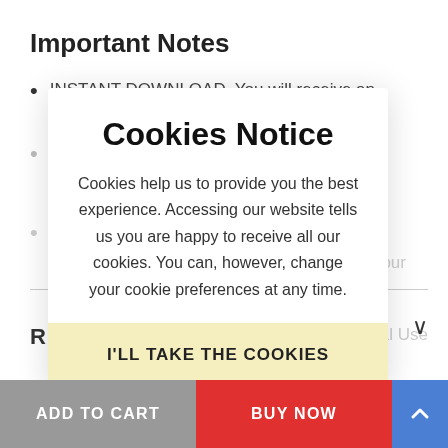Important Notes
INSTANT DOWNLOAD. You will receive an electronic file only, which you can download.
Colors in the final print may look different.
...but please contact us if you have any problems with your ...
... Personal Use
Cookies Notice
Cookies help us to provide you the best experience. Accessing our website tells us you are happy to receive all our cookies. You can, however, change your cookie preferences at any time.
I'LL TAKE THE COOKIES
R...
ADD TO CART   BUY NOW